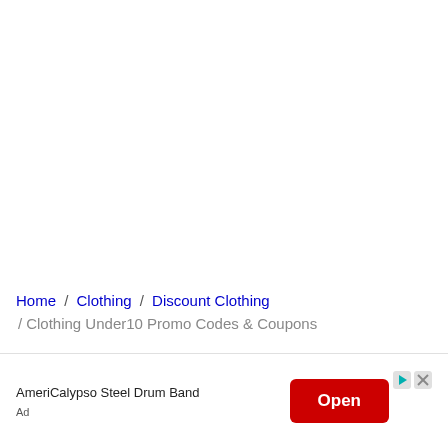Home / Clothing / Discount Clothing / Clothing Under10 Promo Codes & Coupons
[Figure (screenshot): Advertisement banner for AmeriCalypso Steel Drum Band with a red Open button and ad icons]